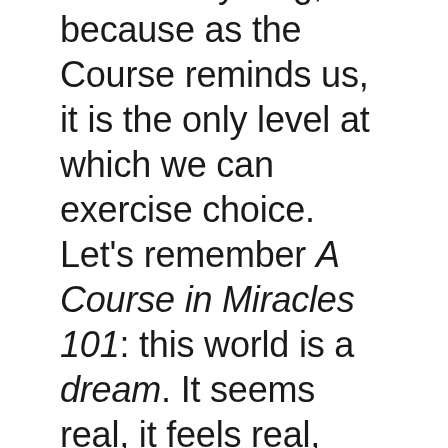correct anything, because as the Course reminds us, it is the only level at which we can exercise choice. Let's remember A Course in Miracles 101: this world is a dream. It seems real, it feels real, just like dreams you have while you are sleeping. That doesn't mean it IS real. So the...